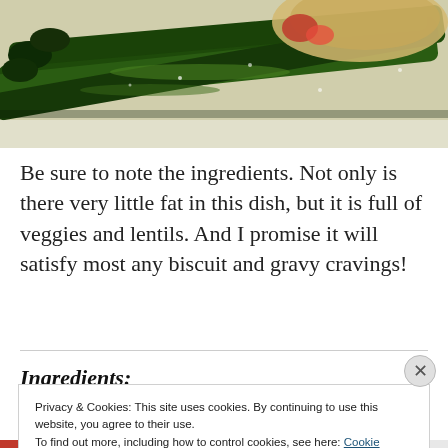[Figure (photo): Close-up photo of grilled asparagus spears with a biscuit and vegetables in the background on a white plate]
Be sure to note the ingredients. Not only is there very little fat in this dish, but it is full of veggies and lentils. And I promise it will satisfy most any biscuit and gravy cravings!
Ingredients:
Privacy & Cookies: This site uses cookies. By continuing to use this website, you agree to their use.
To find out more, including how to control cookies, see here: Cookie Policy